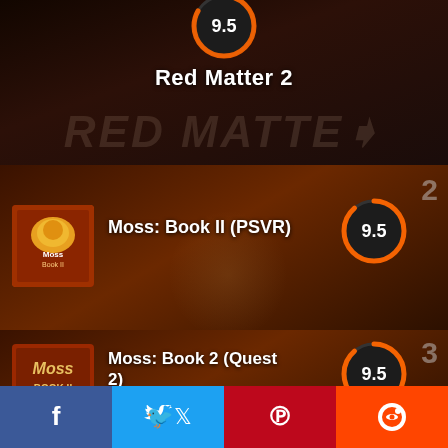[Figure (screenshot): Red Matter 2 game entry with score circle showing 9.5 at top, dark sci-fi background]
Red Matter 2
[Figure (screenshot): Moss: Book II (PSVR) game entry ranked #2 with score 9.5, orange-brown fantasy background with rabbit character]
Moss: Book II (PSVR)
[Figure (screenshot): Moss: Book 2 (Quest 2) game entry ranked #3 with score 9.5 and User Avg badge of 4]
Moss: Book 2 (Quest 2)
User Avg 4
[Figure (screenshot): Resident Evil 4 VR game entry ranked #4 with score 9, partially visible]
Resident Evil 4 VR
f  Twitter  Pinterest  Reddit